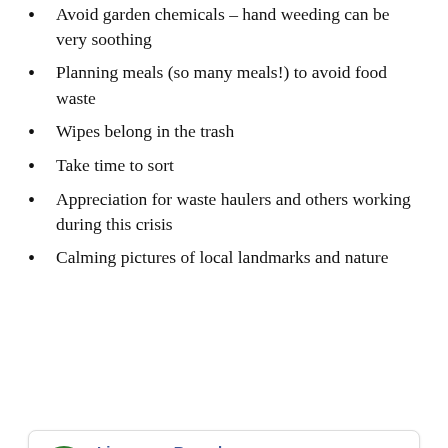Avoid garden chemicals – hand weeding can be very soothing
Planning meals (so many meals!) to avoid food waste
Wipes belong in the trash
Take time to sort
Appreciation for waste haulers and others working during this crisis
Calming pictures of local landmarks and nature
[Figure (screenshot): Facebook post by Livermore Recycles, published by Nancy Roberts [?], March 9 at 2:19 PM, globe icon. Partial text: As we all work to stop the coronavirus, please know that these]